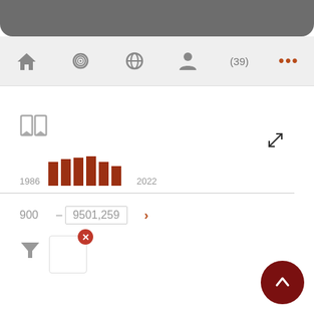[Figure (screenshot): Top navigation bar with dark gray background]
[Figure (screenshot): Navigation icon bar with home, spiral, globe, person, (39) badge, and ellipsis icons on light gray background]
[Figure (bar-chart): Small bar chart with brown/red bars spanning 1986 to 2022]
900 - 9501,259
[Figure (screenshot): Filter icon and a small white box with a red X dismiss button]